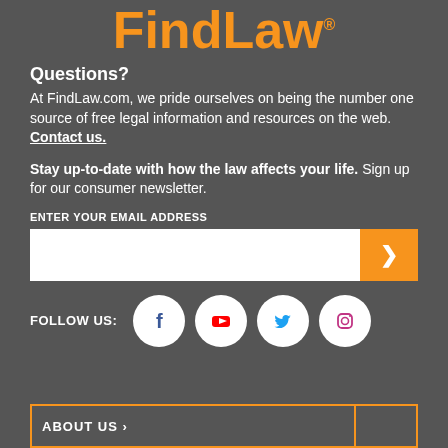[Figure (logo): FindLaw logo in orange text with registered trademark symbol]
Questions?
At FindLaw.com, we pride ourselves on being the number one source of free legal information and resources on the web. Contact us.
Stay up-to-date with how the law affects your life. Sign up for our consumer newsletter.
ENTER YOUR EMAIL ADDRESS
[Figure (infographic): Email input field with orange submit arrow button]
FOLLOW US:
[Figure (infographic): Social media icons: Facebook, YouTube, Twitter, Instagram]
ABOUT US >